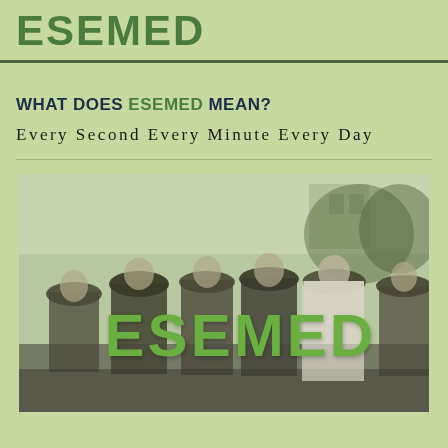ESEMED
WHAT DOES ESEMED MEAN?
Every Second Every Minute Every Day
[Figure (photo): Black and white historical photograph of a group of women wearing hats, seated together, with the word ESEMED overlaid in large green bold text in the center of the image.]